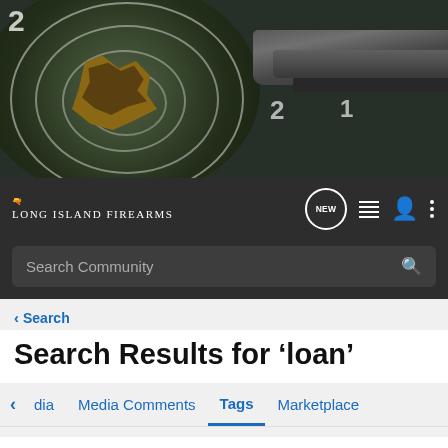[Figure (photo): Long Island Firearms website header banner showing a shooting target with bullet holes and a gun barrel on a dark background]
[Figure (logo): Long Island Firearms logo in white text on dark navbar, with navigation icons including NEW chat bubble, list, user, and menu icons]
Search Community
< Search
Search Results for ‘loan’
dia  Media Comments  Tags  Marketplace
Search Tags
× loan